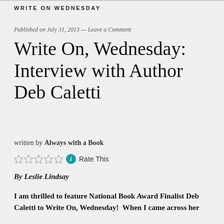WRITE ON WEDNESDAY
Published on July 31, 2013 — Leave a Comment
Write On, Wednesday: Interview with Author Deb Caletti
written by Always with a Book
Rate This
By Leslie Lindsay
I am thrilled to feature National Book Award Finalist Deb Caletti to Write On, Wednesday!  When I came across her